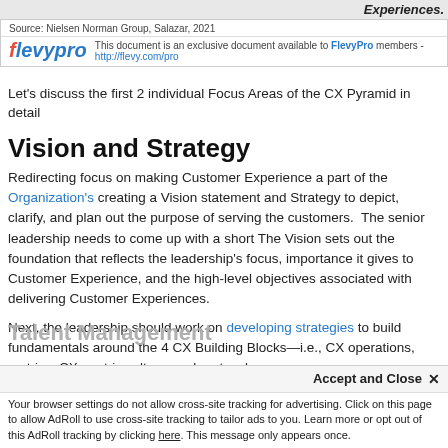Experiences.
Source: Nielsen Norman Group, Salazar, 2021
This document is an exclusive document available to FlevyPro members - http://flevy.com/pro
Let’s discuss the first 2 individual Focus Areas of the CX Pyramid in detail
Vision and Strategy
Redirecting focus on making Customer Experience a part of the Organization’s creating a Vision statement and Strategy to depict, clarify, and plan out the purpose of serving the customers. The senior leadership needs to come up with a short Vision statement. The Vision sets out the foundation that reflects the leadership’s focus, importance it gives to Customer Experience, and the high-level objectives associated with delivering Customer Experiences.
Next, the leadership should work on developing strategies to build fundamentals around the 4 CX Building Blocks—i.e., CX operations, metrics, CX-centric culture, and protocols.
Talent Management
Accept and Close ×
Your browser settings do not allow cross-site tracking for advertising. Click on this page to allow AdRoll to use cross-site tracking to tailor ads to you. Learn more or opt out of this AdRoll tracking by clicking here. This message only appears once.